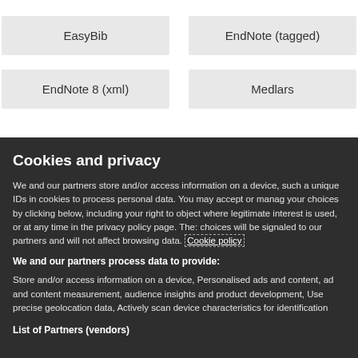EasyBib
EndNote (tagged)
EndNote 8 (xml)
Medlars
Cookies and privacy
We and our partners store and/or access information on a device, such a unique IDs in cookies to process personal data. You may accept or manage your choices by clicking below, including your right to object where legitimate interest is used, or at any time in the privacy policy page. These choices will be signaled to our partners and will not affect browsing data. Cookie policy
We and our partners process data to provide:
Store and/or access information on a device, Personalised ads and content, ad and content measurement, audience insights and product development, Use precise geolocation data, Actively scan device characteristics for identification
List of Partners (vendors)